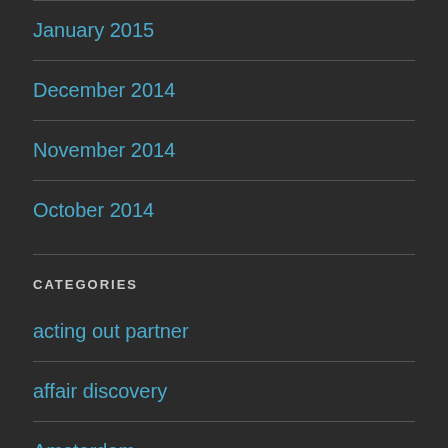January 2015
December 2014
November 2014
October 2014
CATEGORIES
acting out partner
affair discovery
Amsterdam